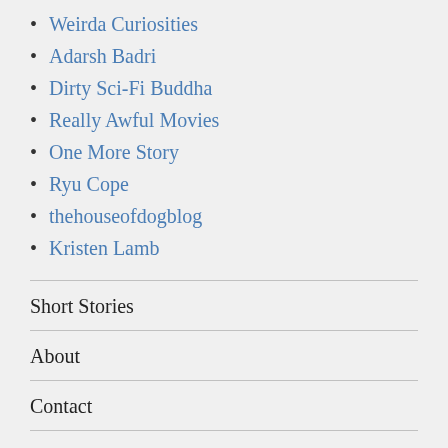Weirda Curiosities
Adarsh Badri
Dirty Sci-Fi Buddha
Really Awful Movies
One More Story
Ryu Cope
thehouseofdogblog
Kristen Lamb
Short Stories
About
Contact